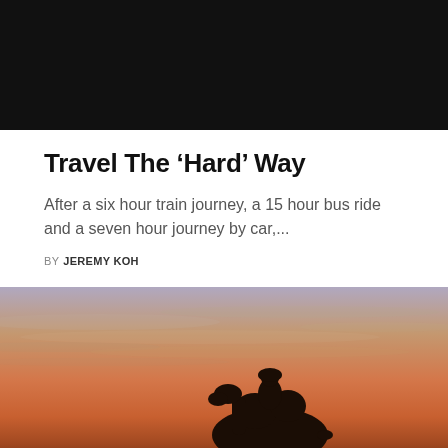[Figure (photo): Dark, nearly black photo at top of page, appears to be a nighttime or heavily shadowed landscape scene]
Travel The ‘Hard’ Way
After a six hour train journey, a 15 hour bus ride and a seven hour journey by car,...
BY  JEREMY KOH
[Figure (photo): Silhouette of a person riding a camel against a dramatic sunset sky with orange and golden hues, streaky clouds overhead]